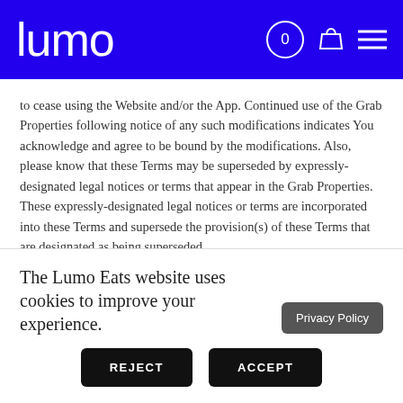lumo
to cease using the Website and/or the App. Continued use of the Grab Properties following notice of any such modifications indicates You acknowledge and agree to be bound by the modifications. Also, please know that these Terms may be superseded by expressly-designated legal notices or terms that appear in the Grab Properties. These expressly-designated legal notices or terms are incorporated into these Terms and supersede the provision(s) of these Terms that are designated as being superseded.
The Lumo Eats website uses cookies to improve your experience.
Privacy Policy
REJECT
ACCEPT